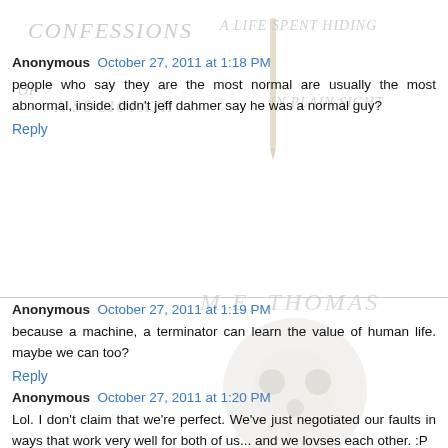[Figure (illustration): Faint handwritten background text reading 'CONFESSIONS A LIFE SPENT HIDING OF A SOCIOPATH IN PLAIN SIGHT' with a pen/pencil illustration and a circular logo/mascot image. Author name 'M.E. THOMAS' in handwritten style.]
Anonymous October 27, 2011 at 1:18 PM
people who say they are the most normal are usually the most abnormal, inside. didn't jeff dahmer say he was a normal guy?
Reply
Anonymous October 27, 2011 at 1:19 PM
because a machine, a terminator can learn the value of human life. maybe we can too?
Reply
Anonymous October 27, 2011 at 1:20 PM
Lol. I don't claim that we're perfect. We've just negotiated our faults in ways that work very well for both of us... and we lovses each other. :P
I dont care about legal standards that people try to instill. It doesn't matter to me that he's illegitimate. It matters to me